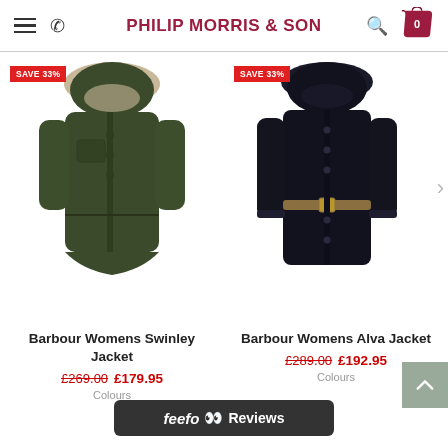PHILIP MORRIS & SON
[Figure (photo): Green Barbour Womens Swinley Jacket with fur-trimmed hood, shown on white background, with SAVE 33% badge]
[Figure (photo): Navy Barbour Womens Alva Jacket with fur-trimmed hood and belt, shown on white background, with SAVE 33% badge]
Barbour Womens Swinley Jacket
£269.00  £179.95
Colours
Barbour Womens Alva Jacket
£289.00  £192.95
Colours
feefo  Reviews